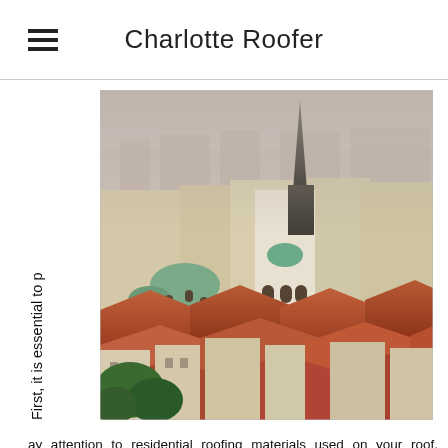Charlotte Roofer
First, it is essential to
[Figure (photo): Aerial view of a European city with red-tiled rooftops, a prominent white church with a tall dark spire, green copper domes, and dense historic architecture in foggy/hazy conditions.]
pay attention to residential roofing materials used on your roof. Quality materials lay the groundwork for structural reliability and should enable a residential roof to provide a roof that will last for twenty to fifty